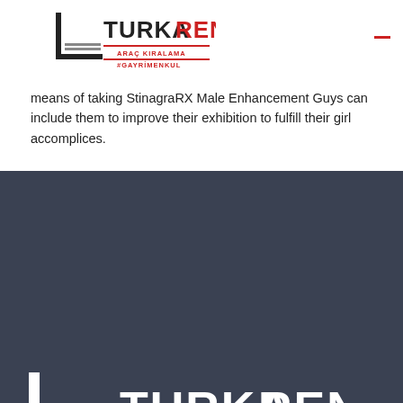[Figure (logo): TurkaRent Araç Kiralama & Gayrimenkul logo (dark text, top of page)]
means of taking StinagraRX Male Enhancement Guys can include them to improve their exhibition to fulfill their girl accomplices.
[Figure (logo): TurkaRent Araç Kiralama & Gayrimenkul logo (white text, dark background footer section)]
[Figure (other): Three social media icons in a row at the bottom of the dark footer]